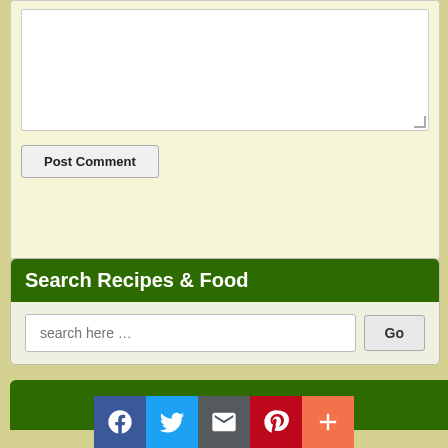[Figure (screenshot): Comment form textarea with resize handle]
Post Comment
Search Recipes & Food
[Figure (screenshot): Search input field with 'search here ...' placeholder and Go button]
Share...
[Figure (infographic): Social share icons: Facebook, Twitter, Email, Pinterest, More (+)]